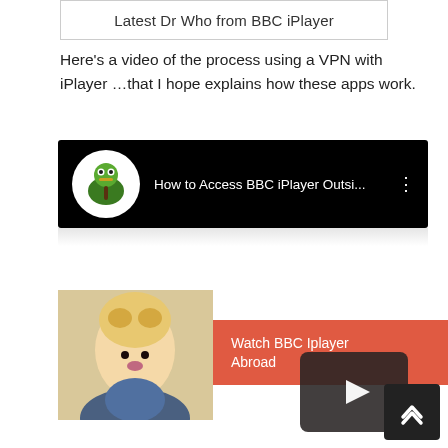Latest Dr Who from BBC iPlayer
Here's a video of the process using a VPN with iPlayer …that I hope explains how these apps work.
[Figure (screenshot): YouTube video thumbnail showing 'How to Access BBC iPlayer Outsi...' with a cartoon bird avatar on black background]
[Figure (screenshot): Promotional image showing a retro-styled blonde woman with a red banner reading 'Watch BBC Iplayer Abroad' and a play button overlay]